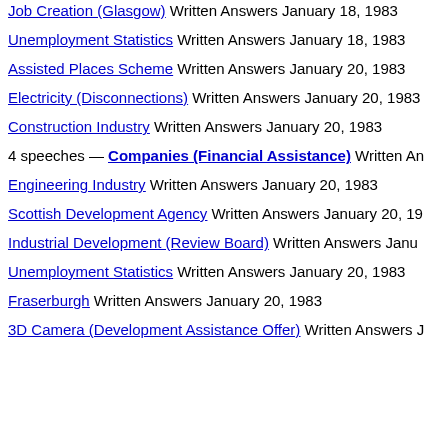Job Creation (Glasgow) Written Answers January 18, 1983
Unemployment Statistics Written Answers January 18, 1983
Assisted Places Scheme Written Answers January 20, 1983
Electricity (Disconnections) Written Answers January 20, 1983
Construction Industry Written Answers January 20, 1983
4 speeches — Companies (Financial Assistance) Written Answers
Engineering Industry Written Answers January 20, 1983
Scottish Development Agency Written Answers January 20, 19...
Industrial Development (Review Board) Written Answers Janu...
Unemployment Statistics Written Answers January 20, 1983
Fraserburgh Written Answers January 20, 1983
3D Camera (Development Assistance Offer) Written Answers J...